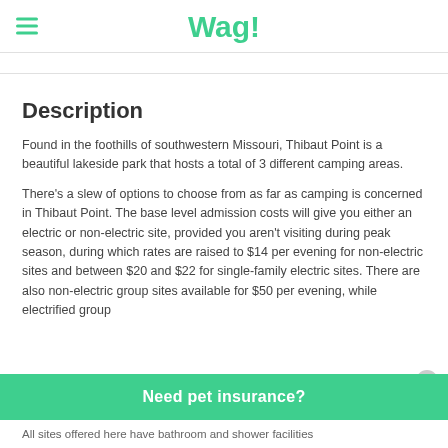Wag!
Description
Found in the foothills of southwestern Missouri, Thibaut Point is a beautiful lakeside park that hosts a total of 3 different camping areas.
There's a slew of options to choose from as far as camping is concerned in Thibaut Point. The base level admission costs will give you either an electric or non-electric site, provided you aren't visiting during peak season, during which rates are raised to $14 per evening for non-electric sites and between $20 and $22 for single-family electric sites. There are also non-electric group sites available for $50 per evening, while electrified group
All sites offered here have bathroom and shower facilities